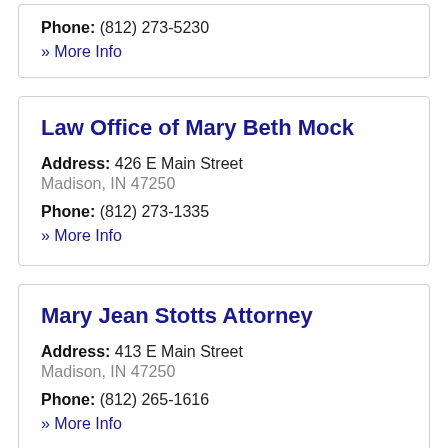Phone: (812) 273-5230
» More Info
Law Office of Mary Beth Mock
Address: 426 E Main Street
Madison, IN 47250
Phone: (812) 273-1335
» More Info
Mary Jean Stotts Attorney
Address: 413 E Main Street
Madison, IN 47250
Phone: (812) 265-1616
» More Info